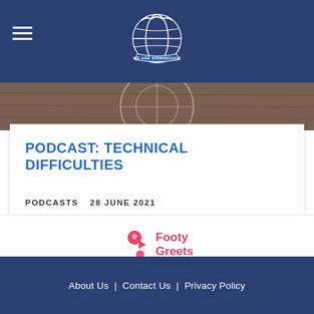We Are Birmingham — navigation header with logo
[Figure (photo): Close-up photo of a football/soccer ball on a wooden surface, cropped as a banner strip]
PODCAST: TECHNICAL DIFFICULTIES
PODCASTS   28 JUNE 2021
[Figure (logo): Footy Greets logo — pink football icon with text 'Footy Greets' in pink]
About Us | Contact Us | Privacy Policy